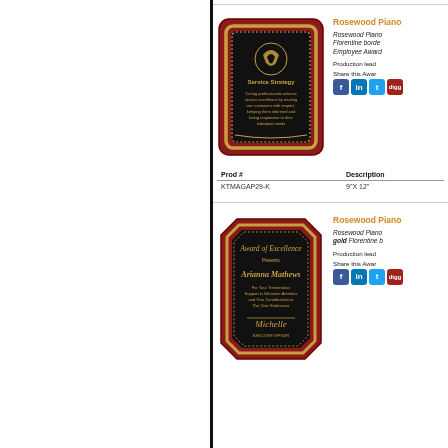[Figure (photo): Rosewood piano finish plaque with black plate and gold Florentine border, Service Strategy engraving]
Rosewood Piano
Rosewood Piano Florentine border Employee Award
Production lead
Share this Award
| Prod # | Description |
| --- | --- |
| KTMAGAP29-K | 9"X 12" |
[Figure (photo): Rosewood piano finish plaque with black plate and gold Florentine border, Award of Excellence engraving for Arianna Mathews]
Rosewood Piano
Rosewood Piano gold Florentine b
Production lead
Share this Award